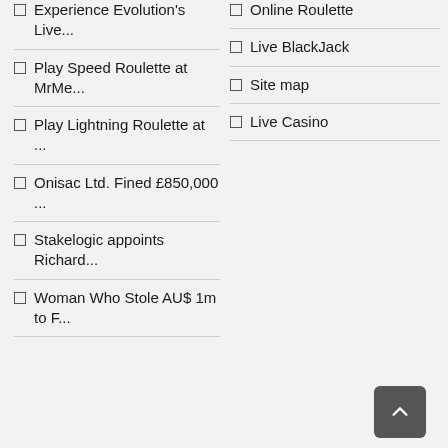Experience Evolution's Live...
Play Speed Roulette at MrMe...
Play Lightning Roulette at ...
Onisac Ltd. Fined £850,000 ...
Stakelogic appoints Richard...
Woman Who Stole AU$ 1m to F...
Online Roulette
Live BlackJack
Site map
Live Casino